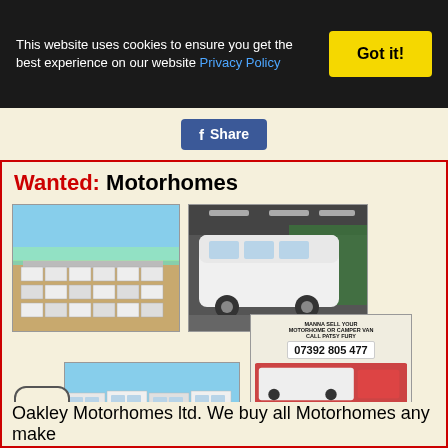This website uses cookies to ensure you get the best experience on our website Privacy Policy
Got it!
[Figure (screenshot): Facebook Share button]
Wanted: Motorhomes
[Figure (photo): Aerial view of motorhome lot with many motorhomes parked in rows outdoors]
[Figure (photo): Large white motorhome parked indoors in a dealership]
[Figure (photo): Advertisement: Manna sell your motorhome or camper van call Patsy Fury 07392 805 477 - get a price from a different dealer near or far I'll beat it - all make all models 1985-2020]
[Figure (photo): Row of white motorhomes parked outdoors]
Oakley Motorhomes ltd. We buy all Motorhomes any make